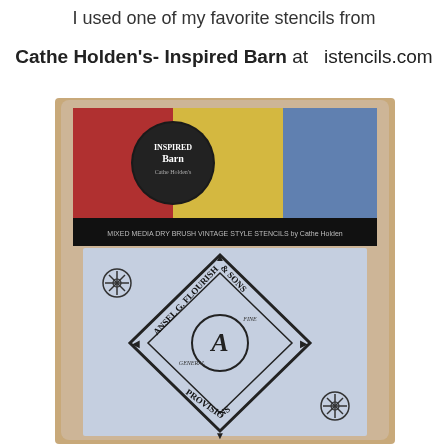I used one of my favorite stencils from
Cathe Holden's- Inspired Barn at  istencils.com
[Figure (photo): Product photo of a stencil package from Cathe Holden's Inspired Barn collection. The package shows a colorful floral and patriotic banner at the top with the Inspired Barn logo, a black label strip with white text, and a light blue stencil sheet featuring a diamond-shaped vintage label design reading 'ANSEL G. FLOURISH & SONS PROVISIONS' with ornate flourish decorations and snowflake-like ornaments in the corners.]